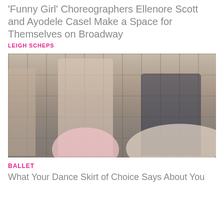'Funny Girl' Choreographers Ellenore Scott and Ayodele Casel Make a Space for Themselves on Broadway
LEIGH SCHEPS
[Figure (photo): Two women dancing joyfully in tutus/skirts in a room with a large bookshelf in the background. A third person is partially visible on the left edge.]
BALLET
What Your Dance Skirt of Choice Says About You